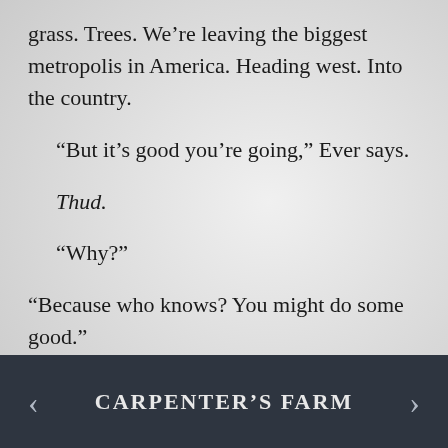grass. Trees. We’re leaving the biggest metropolis in America. Heading west. Into the country.
“But it’s good you’re going,” Ever says.
Thud.
“Why?”
“Because who knows? You might do some good.”
< CARPENTER’S FARM >